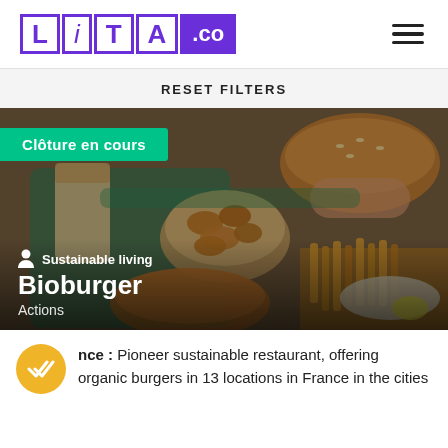[Figure (logo): LITA.CO logo with purple border boxes for L, I, T, A letters and purple background for .CO]
[Figure (other): Hamburger menu icon (three horizontal lines)]
RESET FILTERS
[Figure (photo): Overhead photo of burgers, fries, and fast food on green trays with a dark overlay. Badge reads 'Clôture en cours'. Bottom overlay shows category 'Sustainable living', title 'Bioburger', type 'Actions'.]
nce : Pioneer sustainable restaurant, offering organic burgers in 13 locations in France in the cities